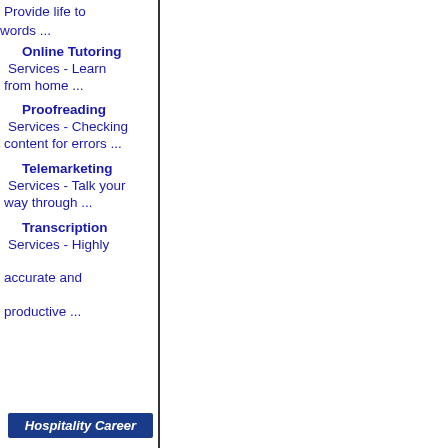Provide life to words ...
Online Tutoring Services - Learn from home ...
Proofreading Services - Checking content for errors ...
Telemarketing Services - Talk your way through ...
Transcription Services - Highly accurate and productive ...
Hospitality Career